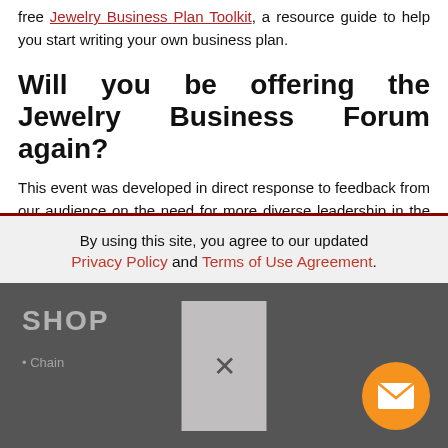free Jewelry Business Plan Toolkit, a resource guide to help you start writing your own business plan.
Will you be offering the Jewelry Business Forum again?
This event was developed in direct response to feedback from our audience on the need for more diverse leadership in the jewelry field as well as more free resources for business development. We plan to hold this conference annually in January.
By using this site, you agree to our updated Privacy Policy and Terms of Use Agreement.
SHOP • Chain